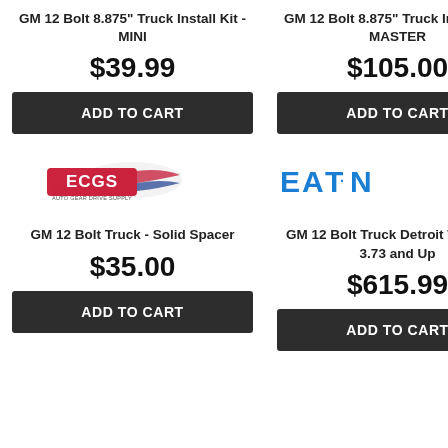GM 12 Bolt 8.875" Truck Install Kit -MINI
$39.99
ADD TO CART
GM 12 Bolt 8.875" Truck Install Kit - MASTER
$105.00
ADD TO CART
[Figure (logo): ECGS Auto Gear logo with racing stripe]
[Figure (logo): EATON logo in blue text EAT·N]
GM 12 Bolt Truck - Solid Spacer
$35.00
ADD TO CART
GM 12 Bolt Truck Detroit Truetrac - 3.73 and Up
$615.99
ADD TO CART